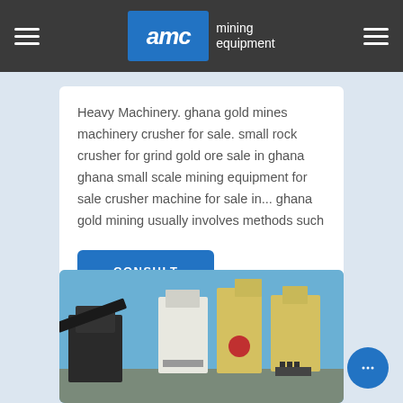AMC mining equipment
Heavy Machinery. ghana gold mines machinery crusher for sale. small rock crusher for grind gold ore sale in ghana ghana small scale mining equipment for sale crusher machine for sale in... ghana gold mining usually involves methods such
CONSULT
[Figure (photo): Mining equipment machinery photo showing crushers and industrial processing equipment against a blue sky]